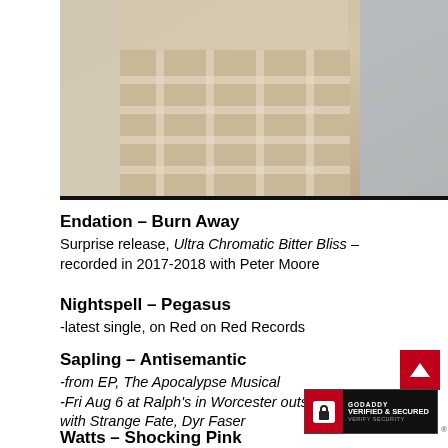[Figure (photo): Photo of a person wearing a beige/cream plaid jacket or sweater, partial torso view, against a light wall background.]
Endation – Burn Away
Surprise release, Ultra Chromatic Bitter Bliss – recorded in 2017-2018 with Peter Moore
Nightspell – Pegasus
-latest single, on Red on Red Records
Sapling – Antisemantic
-from EP, The Apocalypse Musical
-Fri Aug 6 at Ralph's in Worcester outside, with Strange Fate, Dyr Faser
Watts – Shocking Pink
[Figure (logo): GoDaddy Verified & Secured badge]